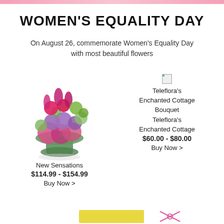WOMEN'S EQUALITY DAY
On August 26, commemorate Women's Equality Day with most beautiful flowers
[Figure (photo): Flower arrangement with pink roses, tulips, purple roses, and green hydrangeas in a glass vase wrapped with green leaves. New Sensations bouquet.]
New Sensations
$114.99 - $154.99
Buy Now >
[Figure (photo): Broken image placeholder for Teleflora's Enchanted Cottage Bouquet]
Teleflora's Enchanted Cottage Bouquet
Teleflora's Enchanted Cottage
$60.00 - $80.00
Buy Now >
[Figure (illustration): Partial yellow/green bottom decorative bar with pink ribbon element]